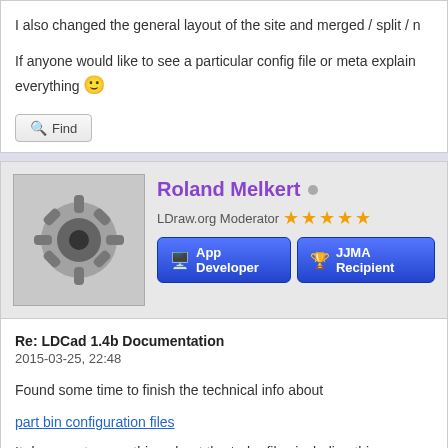I also changed the general layout of the site and merged / split / n
If anyone would like to see a particular config file or meta explain everything 🙂
Find
Roland Melkert
LDraw.org Moderator ★★★★★
App Developer   JJMA Recipient
Re: LDCad 1.4b Documentation
2015-03-25, 22:48
Found some time to finish the technical info about
part bin configuration files
It documents everything about the *.pbg files including things n have been fully tested yet.